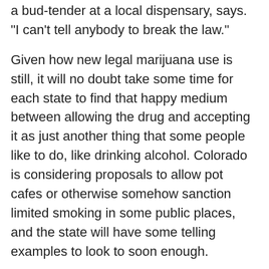a bud-tender at a local dispensary, says. "I can't tell anybody to break the law."
Given how new legal marijuana use is still, it will no doubt take some time for each state to find that happy medium between allowing the drug and accepting it as just another thing that some people like to do, like drinking alcohol. Colorado is considering proposals to allow pot cafes or otherwise somehow sanction limited smoking in some public places, and the state will have some telling examples to look to soon enough.
Alaska Explores New Approach
Alaska is exploring some new territory. Late last year, Alaskan authorities approved a move to allow pot cafes. Marijuana retailers will now be allowed to enjoy "samples" of their goods, which will be consumed on their public premises. It remains to be seen whether this will make